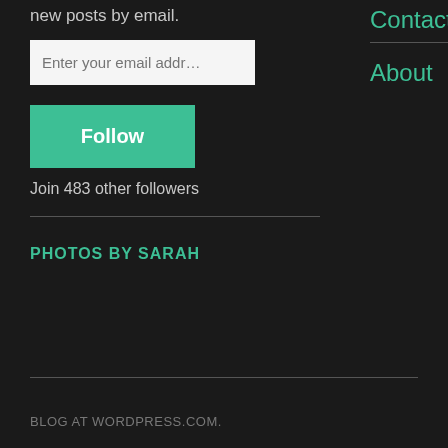new posts by email.
Enter your email address
Follow
Join 483 other followers
Contact
About
PHOTOS BY SARAH
BLOG AT WORDPRESS.COM.